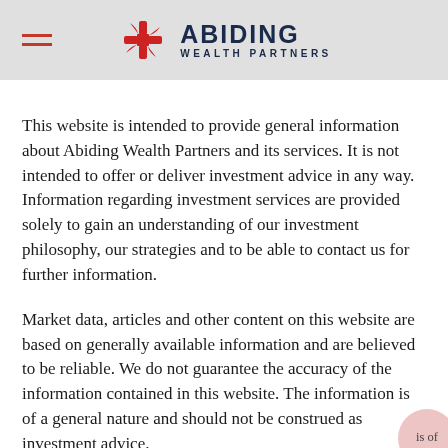ABIDING WEALTH PARTNERS
This website is intended to provide general information about Abiding Wealth Partners and its services. It is not intended to offer or deliver investment advice in any way. Information regarding investment services are provided solely to gain an understanding of our investment philosophy, our strategies and to be able to contact us for further information.
Market data, articles and other content on this website are based on generally available information and are believed to be reliable. We do not guarantee the accuracy of the information contained in this website. The information is of a general nature and should not be construed as investment advice.